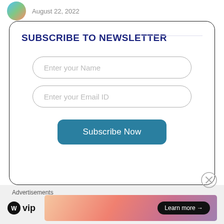August 22, 2022
SUBSCRIBE TO NEWSLETTER
Enter your Name
Enter your Email ID
Subscribe Now
Advertisements
WP vip
Learn more →